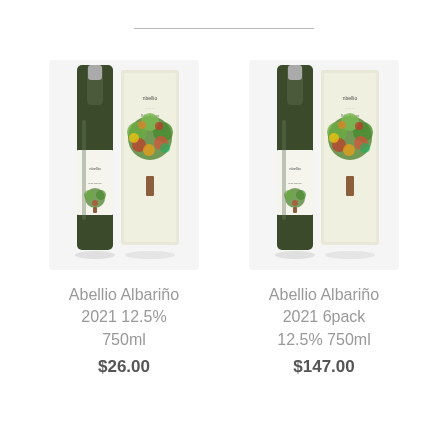[Figure (photo): Two Abellio Albariño wine bottles with colorful tree label (single bottle product)]
Abellio Albariño 2021 12.5% 750ml
$26.00
[Figure (photo): Two Abellio Albariño wine bottles with colorful tree label (6pack product)]
Abellio Albariño 2021 6pack 12.5% 750ml
$147.00